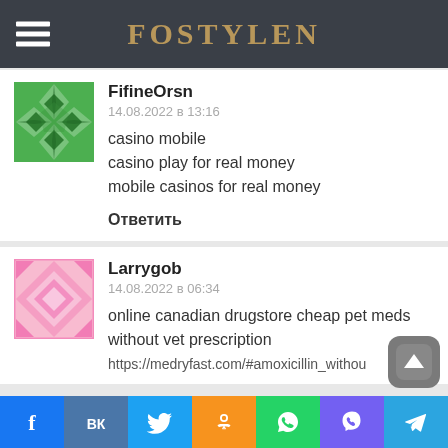FOSTYLEN
FifineOrsn
14.08.2022 в 13:16
casino mobile
casino play for real money
mobile casinos for real money
Ответить
Larrygob
14.08.2022 в 06:34
online canadian drugstore cheap pet meds without vet prescription
https://medryfast.com/#amoxicillin_withou
f ВК (Twitter) OK (WhatsApp) (Viber) (Telegram)